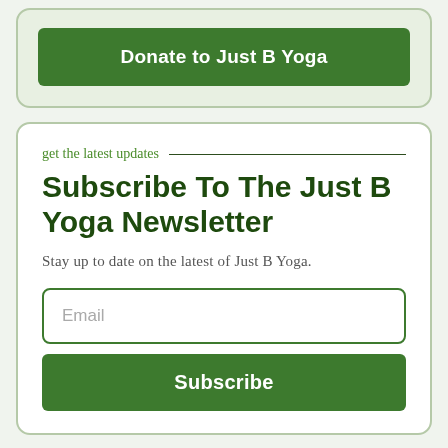Donate to Just B Yoga
get the latest updates
Subscribe To The Just B Yoga Newsletter
Stay up to date on the latest of Just B Yoga.
Email
Subscribe